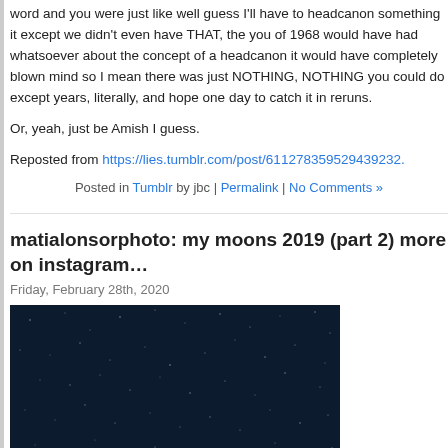word and you were just like well guess I'll have to headcanon something it except we didn't even have THAT, the you of 1968 would have had whatsoever about the concept of a headcanon it would have completely blown mind so I mean there was just NOTHING, NOTHING you could do except years, literally, and hope one day to catch it in reruns.
Or, yeah, just be Amish I guess.
Reposted from https://lies.tumblr.com/post/611278359529439232.
Posted in Tumblr by jbc | Permalink | No Comments »
matialonsorphoto: my moons 2019 (part 2) more on instagram…
Friday, February 28th, 2020
[Figure (photo): Dark night sky photograph with scattered stars, appearing very dark navy/black]